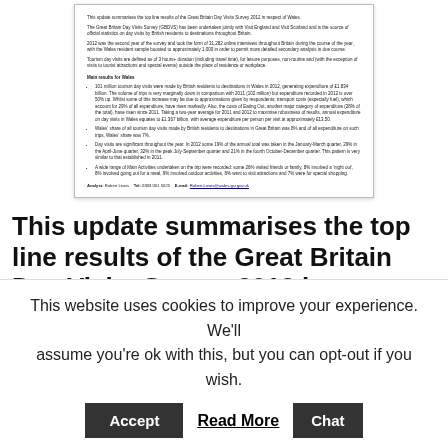[Figure (screenshot): Small document preview panel showing the Great Britain Day Visits Survey 2012 Wales summary page, including introductory paragraphs, Main results for Wales section with bullet points, and an analyst footer line.]
This update summarises the top line results of the Great Britain Day Visits Survey 2012 in respect of Wales. The Great Britain Day Visits
This website uses cookies to improve your experience. We'll assume you're ok with this, but you can opt-out if you wish. [Accept] [Read More] [Chat]